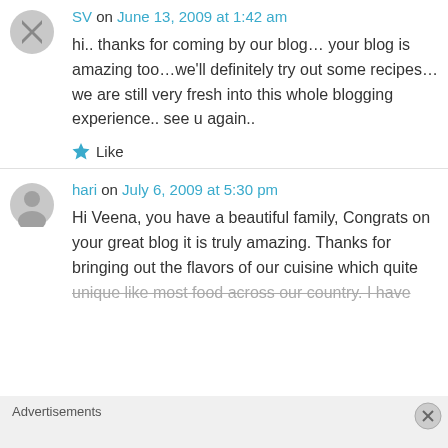SV on June 13, 2009 at 1:42 am
hi.. thanks for coming by our blog… your blog is amazing too…we'll definitely try out some recipes…we are still very fresh into this whole blogging experience.. see u again..
Like
hari on July 6, 2009 at 5:30 pm
Hi Veena, you have a beautiful family, Congrats on your great blog it is truly amazing. Thanks for bringing out the flavors of our cuisine which quite unique like most food across our country. I have
Advertisements